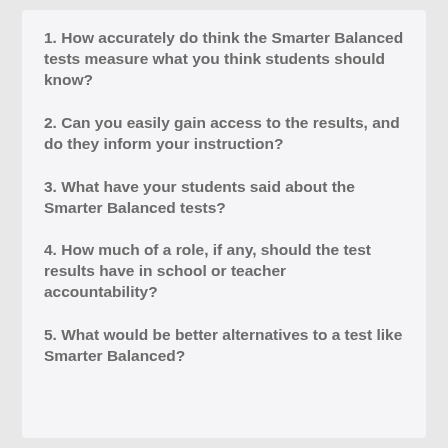1. How accurately do think the Smarter Balanced tests measure what you think students should know?
2. Can you easily gain access to the results, and do they inform your instruction?
3. What have your students said about the Smarter Balanced tests?
4. How much of a role, if any, should the test results have in school or teacher accountability?
5. What would be better alternatives to a test like Smarter Balanced?